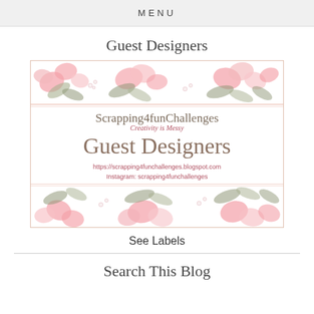MENU
Guest Designers
[Figure (illustration): Scrapping4funChallenges blog banner with floral border (pink flowers and leaves), showing blog name, tagline 'Creativity is Messy', 'Guest Designers' title, blog URL and Instagram handle]
See Labels
Search This Blog